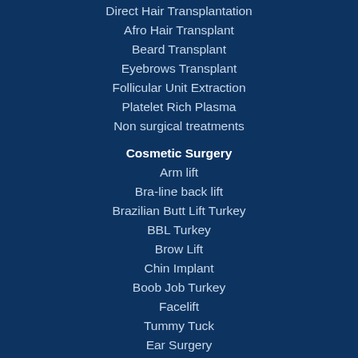Direct Hair Transplantation
Afro Hair Transplant
Beard Transplant
Eyebrows Transplant
Follicular Unit Extraction
Platelet Rich Plasma
Non surgical treatments
Cosmetic Surgery
Arm lift
Bra-line back lift
Brazilian Butt Lift Turkey
BBL Turkey
Brow Lift
Chin Implant
Boob Job Turkey
Facelift
Tummy Tuck
Ear Surgery
Lip Enhancement